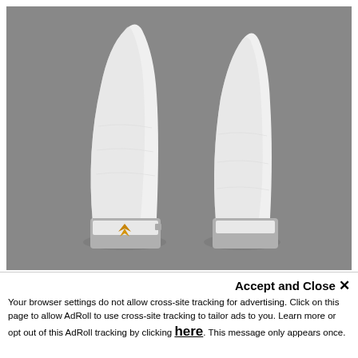[Figure (photo): Two white gymnastics hand grips/guards standing upright against a gray background. The grips are white leather/suede with gray and white wrist straps. A gold/orange logo is partially visible on the left grip's wrist strap.]
Accept and Close ✕
Your browser settings do not allow cross-site tracking for advertising. Click on this page to allow AdRoll to use cross-site tracking to tailor ads to you. Learn more or opt out of this AdRoll tracking by clicking here. This message only appears once.